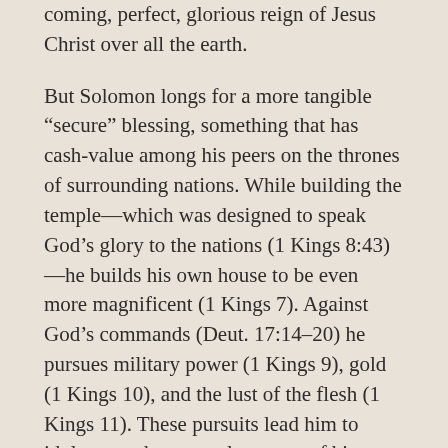coming, perfect, glorious reign of Jesus Christ over all the earth.
But Solomon longs for a more tangible “secure” blessing, something that has cash-value among his peers on the thrones of surrounding nations. While building the temple—which was designed to speak God’s glory to the nations (1 Kings 8:43)—he builds his own house to be even more magnificent (1 Kings 7). Against God’s commands (Deut. 17:14–20) he pursues military power (1 Kings 9), gold (1 Kings 10), and the lust of the flesh (1 Kings 11). These pursuits lead him to idolatry, and even enslavement of his fellow Israelites (1 Kings 9:15ff).
The Lord judges Solomon, in part by having the